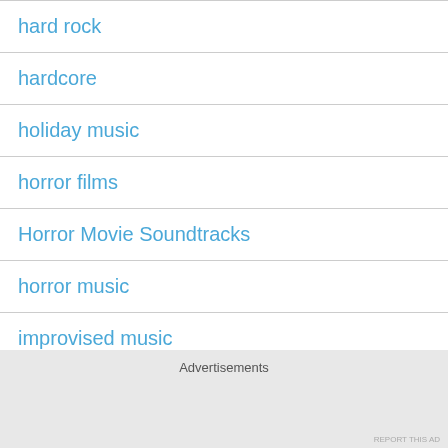hard rock
hardcore
holiday music
horror films
Horror Movie Soundtracks
horror music
improvised music
Independent rock
Advertisements